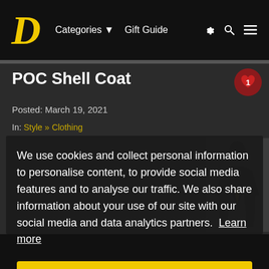Categories  Gift Guide
POC Shell Coat
Posted: March 19, 2021
In: Style » Clothing
We use cookies and collect personal information to personalise content, to provide social media features and to analyse our traffic. We also share information about your use of our site with our social media and data analytics partners. Learn more
Got it!